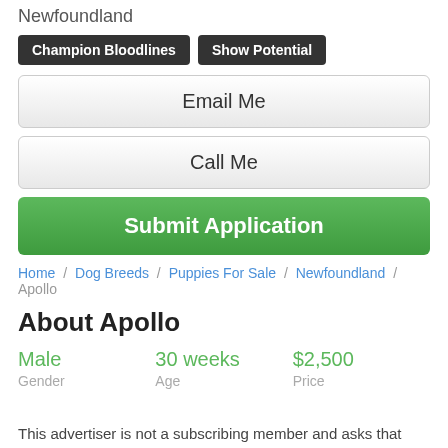Newfoundland
Champion Bloodlines
Show Potential
Email Me
Call Me
Submit Application
Home / Dog Breeds / Puppies For Sale / Newfoundland / Apollo
About Apollo
Male
Gender
30 weeks
Age
$2,500
Price
This advertiser is not a subscribing member and asks that